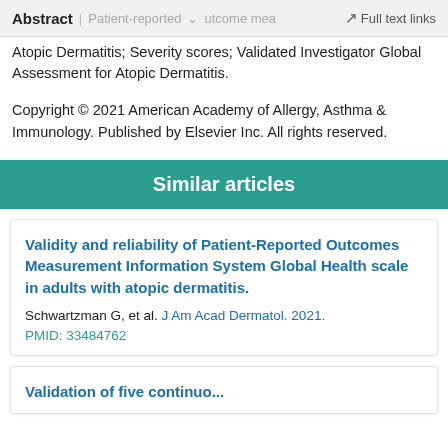Abstract | Patient-reported outcome mea... | Full text links
Atopic Dermatitis; Severity scores; Validated Investigator Global Assessment for Atopic Dermatitis.
Copyright © 2021 American Academy of Allergy, Asthma & Immunology. Published by Elsevier Inc. All rights reserved.
Similar articles
Validity and reliability of Patient-Reported Outcomes Measurement Information System Global Health scale in adults with atopic dermatitis.
Schwartzman G, et al. J Am Acad Dermatol. 2021.
PMID: 33484762
Validation of five continuo...